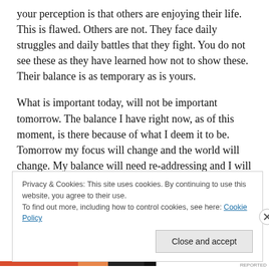your perception is that others are enjoying their life. This is flawed. Others are not. They face daily struggles and daily battles that they fight. You do not see these as they have learned how not to show these. Their balance is as temporary as is yours.
What is important today, will not be important tomorrow. The balance I have right now, as of this moment, is there because of what I deem it to be. Tomorrow my focus will change and the world will change. My balance will need re-addressing and I will again need to question what this
Privacy & Cookies: This site uses cookies. By continuing to use this website, you agree to their use.
To find out more, including how to control cookies, see here: Cookie Policy
Close and accept